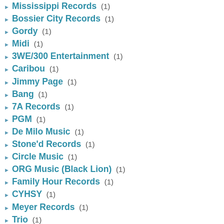Mississippi Records (1)
Bossier City Records (1)
Gordy (1)
Midi (1)
3WE/300 Entertainment (1)
Caribou (1)
Jimmy Page (1)
Bang (1)
7A Records (1)
PGM (1)
De Milo Music (1)
Stone'd Records (1)
Circle Music (1)
ORG Music (Black Lion) (1)
Family Hour Records (1)
CYHSY (1)
Meyer Records (1)
Trio (1)
Frog Pad Records (1)
Jullian Records (1)
12 South Records (1)
Eleven Seven Music (1)
Madic Records (1)
Loud & Proud Records (1)
blonderat (1)
429 Records (1)